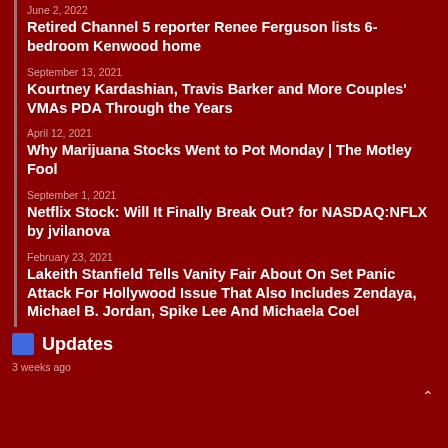June 2, 2022
Retired Channel 5 reporter Renee Ferguson lists 6-bedroom Kenwood home
September 13, 2021
Kourtney Kardashian, Travis Barker and More Couples' VMAs PDA Through the Years
April 12, 2021
Why Marijuana Stocks Went to Pot Monday | The Motley Fool
September 1, 2021
Netflix Stock: Will It Finally Break Out? for NASDAQ:NFLX by jvilanova
February 23, 2021
Lakeith Stanfield Tells Vanity Fair About On Set Panic Attack For Hollywood Issue That Also Includes Zendaya, Michael B. Jordan, Spike Lee And Michaela Coel
Updates
3 weeks ago